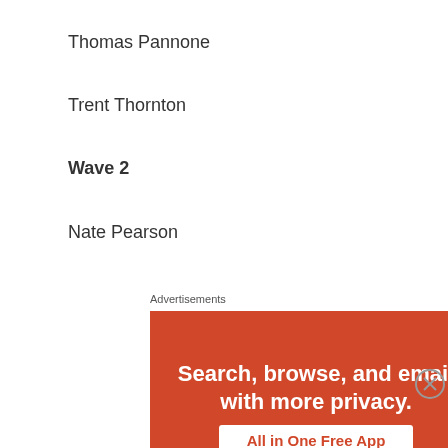Thomas Pannone
Trent Thornton
Wave 2
Nate Pearson
Advertisements
[Figure (infographic): Advertisement banner for an app: orange/red background with white bold text 'Search, browse, and email with more privacy.' and a white button reading 'All in One Free App', with a phone image at the bottom.]
Advertisements
[Figure (infographic): Longreads advertisement banner: dark red background with Longreads logo and tagline 'The best stories on the web — ours, and everyone else's.']